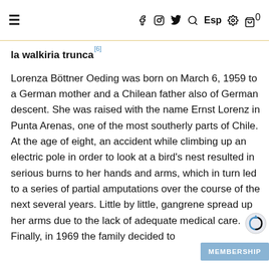≡  f  [instagram]  [twitter]  [search]  Esp  [settings]  [cart]0
la walkiria trunca [6]
Lorenza Böttner Oeding was born on March 6, 1959 to a German mother and a Chilean father also of German descent. She was raised with the name Ernst Lorenz in Punta Arenas, one of the most southerly parts of Chile. At the age of eight, an accident while climbing up an electric pole in order to look at a bird's nest resulted in serious burns to her hands and arms, which in turn led to a series of partial amputations over the course of the next several years. Little by little, gangrene spread up her arms due to the lack of adequate medical care. Finally, in 1969 the family decided to